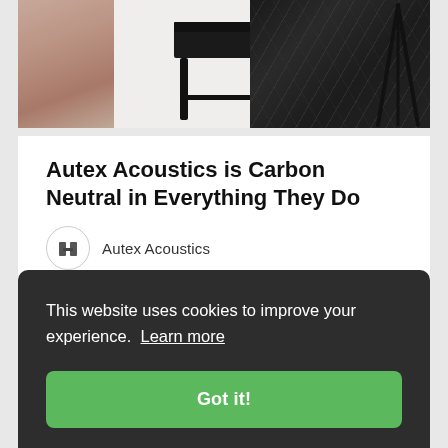[Figure (photo): A split image showing a pink/rose-colored panel on the left, and on the right a white marble background with a black stool/side table in the center and a black marble panel on the far right with a dark tripod stand.]
Autex Acoustics is Carbon Neutral in Everything They Do
Autex Acoustics
This website uses cookies to improve your experience.  Learn more
Got it!